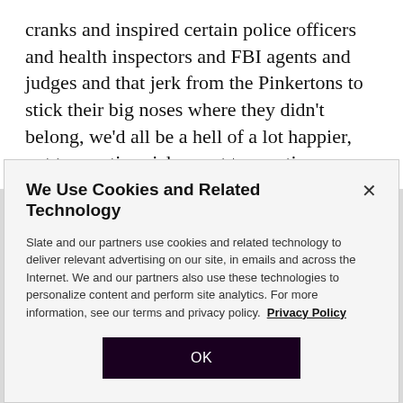cranks and inspired certain police officers and health inspectors and FBI agents and judges and that jerk from the Pinkertons to stick their big noses where they didn't belong, we'd all be a hell of a lot happier, not to mention richer, not to mention more alive, in the specific case of our late founder. But no matter how much we miss the taste of the Dunderbeck Sausage Company's World Famous Original Recipe Dancing Sausages or how angry we get when we think about the good things we had
We Use Cookies and Related Technology
Slate and our partners use cookies and related technology to deliver relevant advertising on our site, in emails and across the Internet. We and our partners also use these technologies to personalize content and perform site analytics. For more information, see our terms and privacy policy.  Privacy Policy
OK